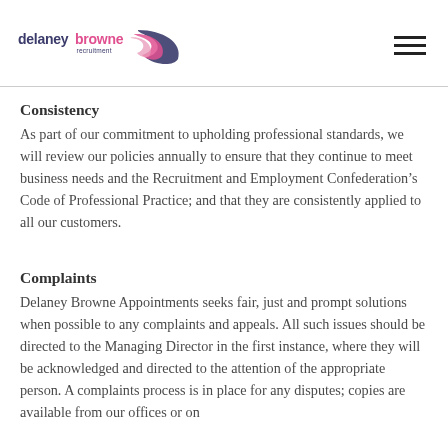[Figure (logo): Delaney Browne Recruitment logo with pink and navy swoosh graphic]
Consistency
As part of our commitment to upholding professional standards, we will review our policies annually to ensure that they continue to meet business needs and the Recruitment and Employment Confederation’s Code of Professional Practice; and that they are consistently applied to all our customers.
Complaints
Delaney Browne Appointments seeks fair, just and prompt solutions when possible to any complaints and appeals. All such issues should be directed to the Managing Director in the first instance, where they will be acknowledged and directed to the attention of the appropriate person. A complaints process is in place for any disputes; copies are available from our offices or on